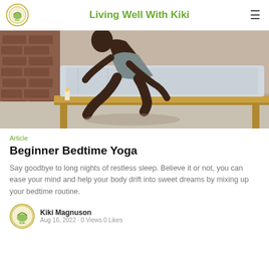Living Well With Kiki
[Figure (photo): Person in grey outfit doing a yoga stretch beside a wooden bed frame in a bedroom with brick wall background]
Article
Beginner Bedtime Yoga
Say goodbye to long nights of restless sleep. Believe it or not, you can ease your mind and help your body drift into sweet dreams by mixing up your bedtime routine.
Kiki Magnuson
Aug 16, 2022 · 0 Views 0 Likes